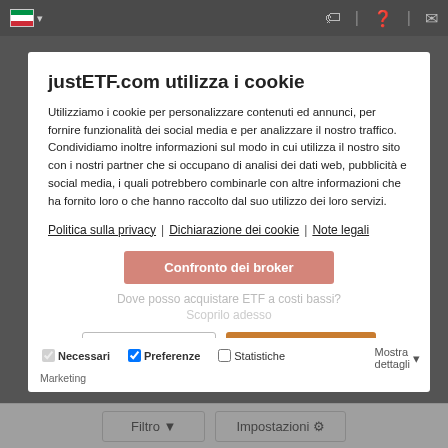IT ▾  [icons]
justETF.com utilizza i cookie
Utilizziamo i cookie per personalizzare contenuti ed annunci, per fornire funzionalità dei social media e per analizzare il nostro traffico. Condividiamo inoltre informazioni sul modo in cui utilizza il nostro sito con i nostri partner che si occupano di analisi dei dati web, pubblicità e social media, i quali potrebbero combinarle con altre informazioni che ha fornito loro o che hanno raccolto dal suo utilizzo dei loro servizi.
Politica sulla privacy | Dichiarazione dei cookie | Note legali
Confronto dei broker
Dove posso acquistare ETF a costi bassi?
Scoprilo adesso
Accetta selezionati
Accetta tutti i cookie
Necessari  Preferenze  Statistiche  Mostra dettagli  Marketing
Risultato della ricerca: 1
Filtro  Impostazioni